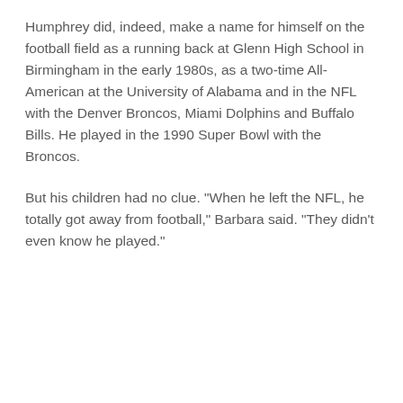Humphrey did, indeed, make a name for himself on the football field as a running back at Glenn High School in Birmingham in the early 1980s, as a two-time All-American at the University of Alabama and in the NFL with the Denver Broncos, Miami Dolphins and Buffalo Bills. He played in the 1990 Super Bowl with the Broncos.
But his children had no clue. "When he left the NFL, he totally got away from football," Barbara said. "They didn't even know he played."